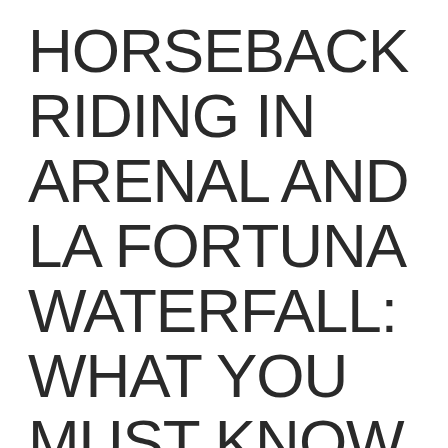HORSEBACK RIDING IN ARENAL AND LA FORTUNA WATERFALL: WHAT YOU MUST KNOW
Posted by shieldwatch on May 8, 2017 8:08:06 AM
Horseback riding to the Arenal Volcano and La